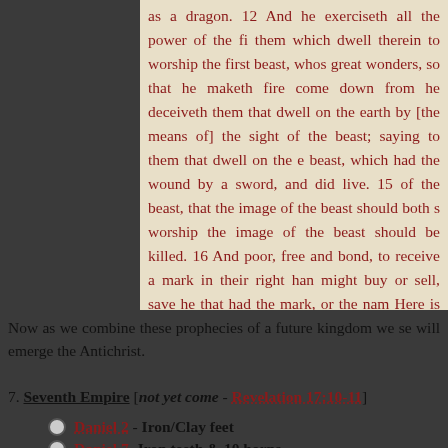as a dragon. 12 And he exerciseth all the power of the first beast before him, and causeth them which dwell therein to worship the first beast, whose deadly wound was healed. 13 And he doeth great wonders, so that he maketh fire come down from heaven on the earth in the sight of men, 14 And deceiveth them that dwell on the earth by [the means of] those miracles which he had power to do in the sight of the beast; saying to them that dwell on the earth, that they should make an image to the beast, which had the wound by a sword, and did live. 15 And he had power to give life unto the image of the beast, that the image of the beast should both speak, and cause that as many as would not worship the image of the beast should be killed. 16 And he causeth all, both small and great, rich and poor, free and bond, to receive a mark in their right hand, or in their foreheads: 17 And that no man might buy or sell, save he that had the mark, or the name of the beast, or the number of his name. 18 Here is wisdom. Let him that hath understanding count the number of the beast: for it is the number of a man; and his number [is] Six hundred threescore [and] six.
Now as we combine these prophecies of a future kingdom we see that from this empire will emerge the Antichrist.
7. Seventh Empire [not yet come - Revelation 17:10-11]
Daniel 2 - Iron/Clay feet
Daniel 7 - Iron teeth & 10 horns